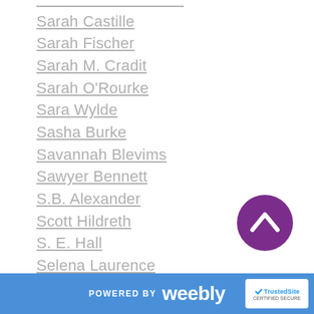Sarah Castille
Sarah Fischer
Sarah M. Cradit
Sarah O'Rourke
Sara Wylde
Sasha Burke
Savannah Blevims
Sawyer Bennett
S.B. Alexander
Scott Hildreth
S. E. Hall
Selena Laurence
Setta Jay
S Ferguson
Shana Vanterpool
Shandi Boyes
Shanora Williams
[Figure (other): Purple circular scroll-to-top button with upward chevron arrow]
POWERED BY weebly | TrustedSite